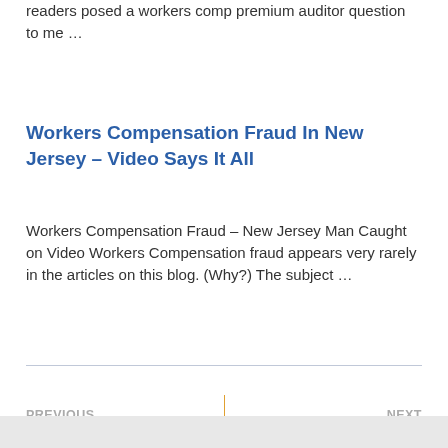readers posed a workers comp premium auditor question to me …
Workers Compensation Fraud In New Jersey – Video Says It All
Workers Compensation Fraud – New Jersey Man Caught on Video Workers Compensation fraud appears very rarely in the articles on this blog.  (Why?)   The subject …
‹ PREVIOUS
Florida E-Mod System …
NEXT ›
Recent Florida Decisio…